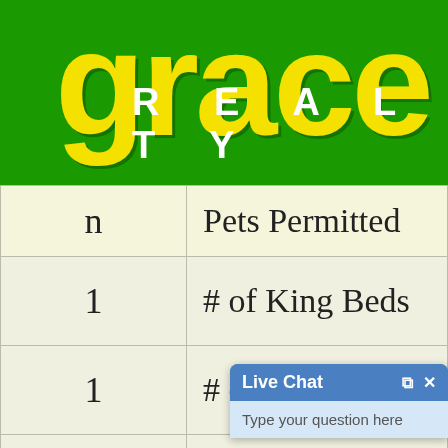[Figure (logo): Grace Realty logo on green background with large yellow 'grace' text and white 'REALTY' text below]
| n | Pets Permitted |
| --- | --- |
| 1 | # of King Beds |
| 1 | # of Queen Beds |
| 4 | #... s |
[Figure (screenshot): Live Chat widget overlay with header and 'Type your question here' input field]